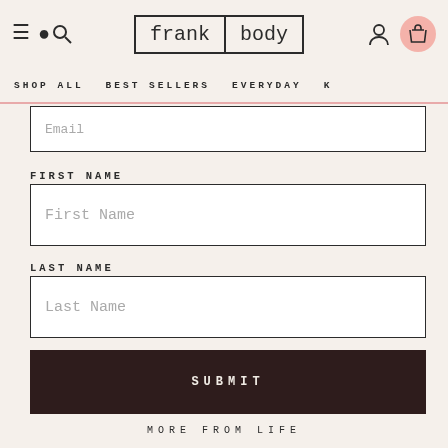frank body — Shop All | Best Sellers | Everyday | K...
Email (field placeholder)
FIRST NAME
First Name (field placeholder)
LAST NAME
Last Name (field placeholder)
SUBMIT
MORE FROM LIFE